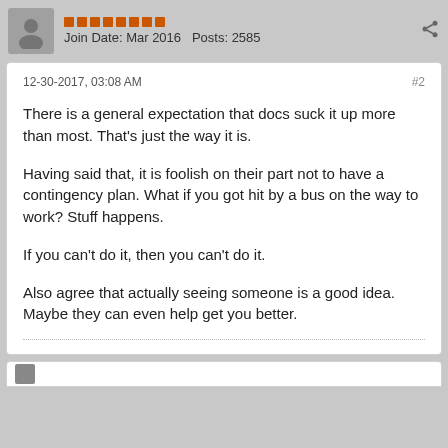Join Date: Mar 2016  Posts: 2585
12-30-2017, 03:08 AM
#2

There is a general expectation that docs suck it up more than most.  That's just the way it is.

Having said that, it is foolish on their part not to have a contingency plan.  What if you got hit by a bus on the way to work?  Stuff happens.

If you can't do it, then you can't do it.

Also agree that actually seeing someone is a good idea.  Maybe they can even help get you better.